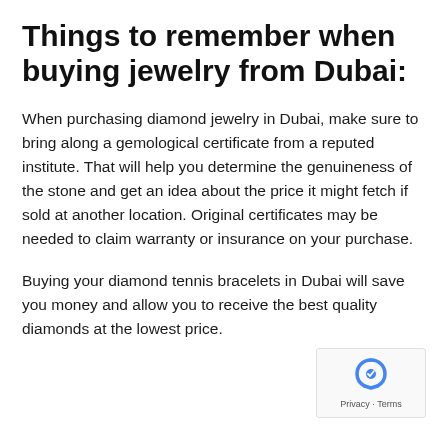Things to remember when buying jewelry from Dubai:
When purchasing diamond jewelry in Dubai, make sure to bring along a gemological certificate from a reputed institute. That will help you determine the genuineness of the stone and get an idea about the price it might fetch if sold at another location. Original certificates may be needed to claim warranty or insurance on your purchase.
Buying your diamond tennis bracelets in Dubai will save you money and allow you to receive the best quality diamonds at the lowest price.